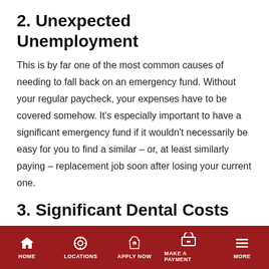2. Unexpected Unemployment
This is by far one of the most common causes of needing to fall back on an emergency fund. Without your regular paycheck, your expenses have to be covered somehow. It’s especially important to have a significant emergency fund if it wouldn’t necessarily be easy for you to find a similar – or, at least similarly paying – replacement job soon after losing your current one.
3. Significant Dental Costs
Dental procedures like wisdom teeth removal, root canals, and the like, can all cost immensely, sometimes even with dental coverage. This is one of the more commonly reported emergency expenses out there and it’s easy to understand why; no one can
HOME   LOCATIONS   APPLY NOW   MAKE A PAYMENT   MORE